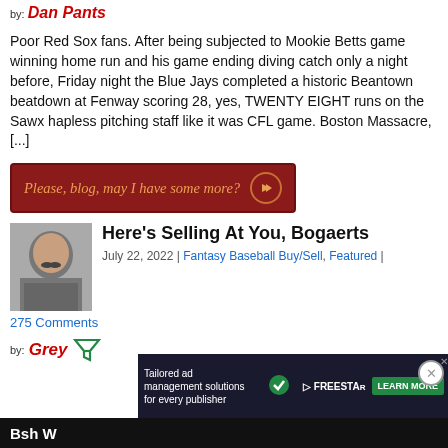by: Dan Pants
Poor Red Sox fans. After being subjected to Mookie Betts game winning home run and his game ending diving catch only a night before, Friday night the Blue Jays completed a historic Beantown beatdown at Fenway scoring 28, yes, TWENTY EIGHT runs on the Sawx hapless pitching staff like it was CFL game. Boston Massacre, [...]
Please, blog, may I have some more?
[Figure (photo): Black and white headshot photo of a man]
Here's Selling At You, Bogaerts
July 22, 2022 | Fantasy Baseball Buy/Sell, Featured | 275 Comments
by: Grey
[Figure (screenshot): Tailored ad management solutions for every publisher - Freestar advertisement with learn more button]
Bsh W...